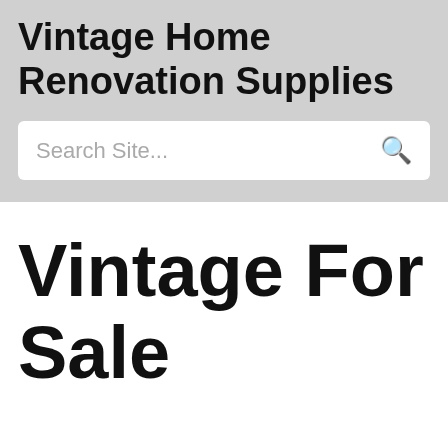Vintage Home Renovation Supplies
Search Site...
Vintage For Sale